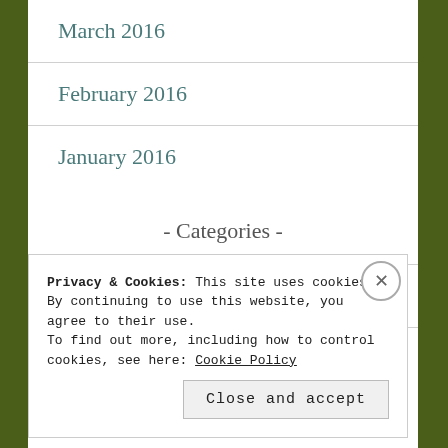March 2016
February 2016
January 2016
- Categories -
Anime
Blog Tour
Privacy & Cookies: This site uses cookies. By continuing to use this website, you agree to their use.
To find out more, including how to control cookies, see here: Cookie Policy
Close and accept